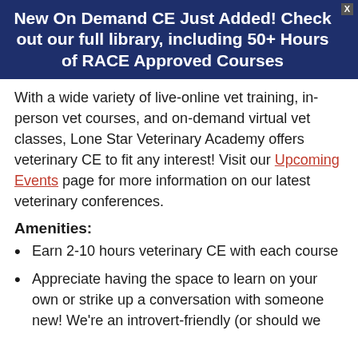New On Demand CE Just Added! Check out our full library, including 50+ Hours of RACE Approved Courses
With a wide variety of live-online vet training, in-person vet courses, and on-demand virtual vet classes, Lone Star Veterinary Academy offers veterinary CE to fit any interest! Visit our Upcoming Events page for more information on our latest veterinary conferences.
Amenities:
Earn 2-10 hours veterinary CE with each course
Appreciate having the space to learn on your own or strike up a conversation with someone new! We're an introvert-friendly (or should we